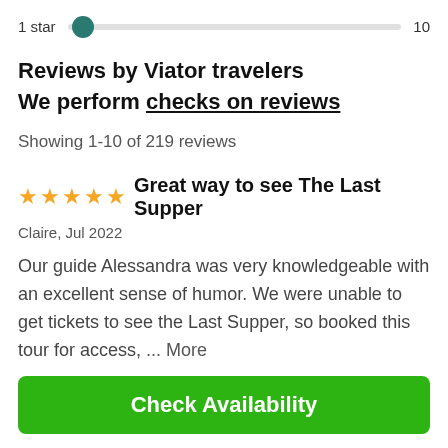[Figure (other): A horizontal slider control showing '1 star' label on the left, a teal circular thumb near the left end of a gray track, and '10' on the right]
Reviews by Viator travelers
We perform checks on reviews
Showing 1-10 of 219 reviews
★★★★★ Great way to see The Last Supper
Claire, Jul 2022
Our guide Alessandra was very knowledgeable with an excellent sense of humor. We were unable to get tickets to see the Last Supper, so booked this tour for access, ... More
Check Availability